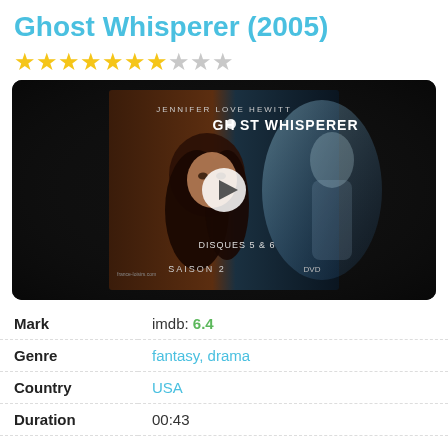Ghost Whisperer (2005)
[Figure (other): Star rating display showing 7 filled gold stars and 3 empty grey stars out of 10]
[Figure (photo): DVD cover / video thumbnail of Ghost Whisperer TV show featuring Jennifer Love Hewitt with a play button overlay. Text on cover: JENNIFER LOVE HEWITT, GHOST WHISPERER, DISQUES 5 & 6, SAISON 2, DVD]
| Mark | imdb: 6.4 |
| Genre | fantasy, drama |
| Country | USA |
| Duration | 00:43 |